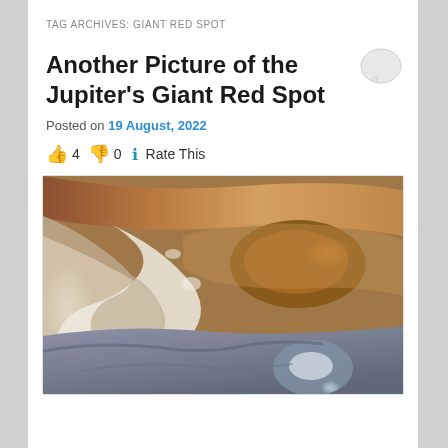TAG ARCHIVES: GIANT RED SPOT
Another Picture of the Jupiter's Giant Red Spot
Posted on 19 August, 2022
👍 4 👎 0 ℹ Rate This
[Figure (photo): Close-up photograph of Jupiter's surface showing the Great Red Spot storm system with swirling cloud bands in shades of brown, orange, white, and blue-grey]